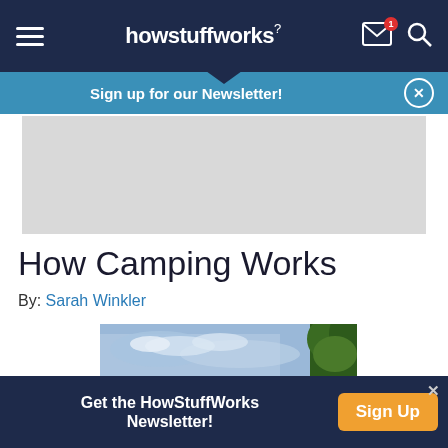howstuffworks
Sign up for our Newsletter!
[Figure (other): Gray advertisement placeholder rectangle]
How Camping Works
By: Sarah Winkler
[Figure (photo): Partially visible outdoor nature photo showing blue sky and green tree foliage]
Get the HowStuffWorks Newsletter!